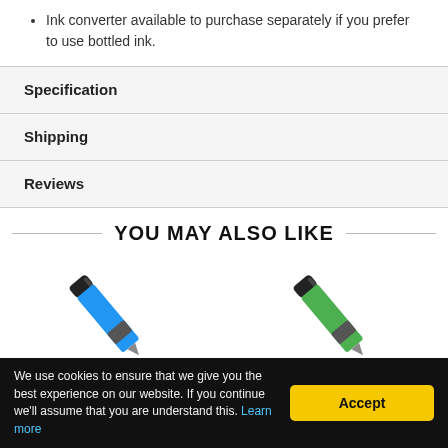Ink converter available to purchase separately if you prefer to use bottled ink.
Specification
Shipping
Reviews
YOU MAY ALSO LIKE
[Figure (photo): Blue pen angled diagonally]
[Figure (photo): Green pen angled diagonally]
We use cookies to ensure that we give you the best experience on our website. If you continue we'll assume that you are understand this. Learn more